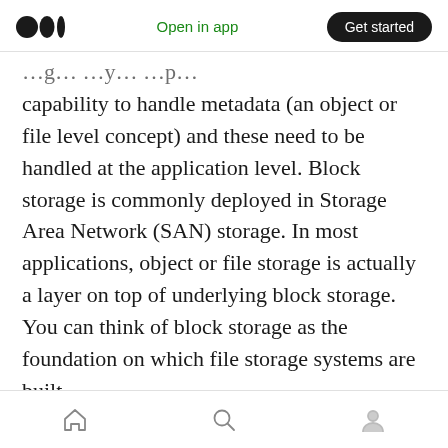Open in app | Get started
capability to handle metadata (an object or file level concept) and these need to be handled at the application level. Block storage is commonly deployed in Storage Area Network (SAN) storage. In most applications, object or file storage is actually a layer on top of underlying block storage. You can think of block storage as the foundation on which file storage systems are built.
The table below compares the different features of different types of storage. Block storage is
Home | Search | Profile